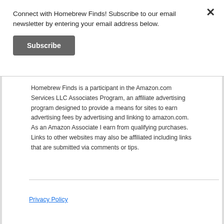Connect with Homebrew Finds! Subscribe to our email newsletter by entering your email address below.
[Figure (other): Subscribe button — dark grey rectangular button with white bold text 'Subscribe']
Homebrew Finds is a participant in the Amazon.com Services LLC Associates Program, an affiliate advertising program designed to provide a means for sites to earn advertising fees by advertising and linking to amazon.com. As an Amazon Associate I earn from qualifying purchases. Links to other websites may also be affiliated including links that are submitted via comments or tips.
Privacy Policy